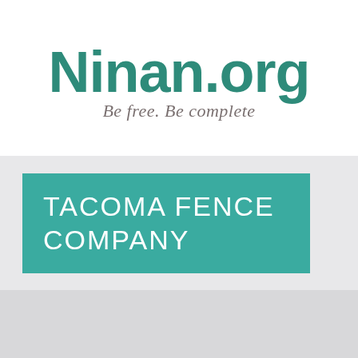Ninan.org
Be free. Be complete
TACOMA FENCE COMPANY